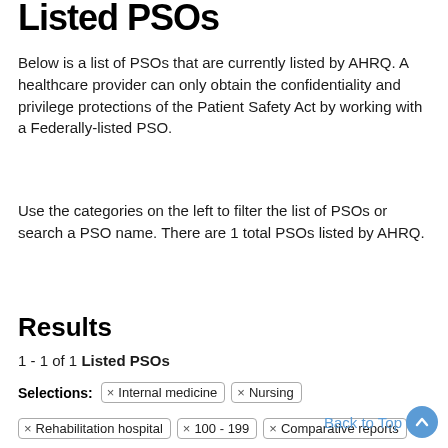Listed PSOs
Below is a list of PSOs that are currently listed by AHRQ. A healthcare provider can only obtain the confidentiality and privilege protections of the Patient Safety Act by working with a Federally-listed PSO.
Use the categories on the left to filter the list of PSOs or search a PSO name. There are 1 total PSOs listed by AHRQ.
Results
1 - 1 of 1 Listed PSOs
Selections: × Internal medicine × Nursing × Rehabilitation hospital × 100 - 199 × Comparative reports